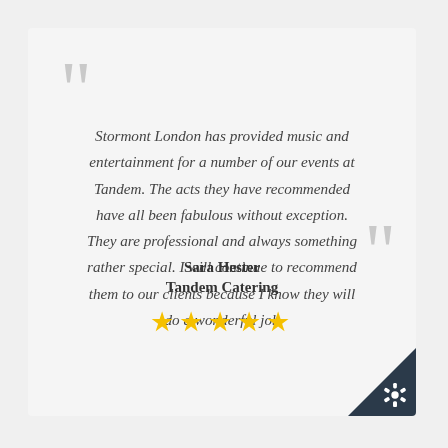Stormont London has provided music and entertainment for a number of our events at Tandem. The acts they have recommended have all been fabulous without exception. They are professional and always something rather special. I will continue to recommend them to our clients because I know they will do a wonderful job
Sara Hester
Tandem Catering
[Figure (other): Five gold star rating icons]